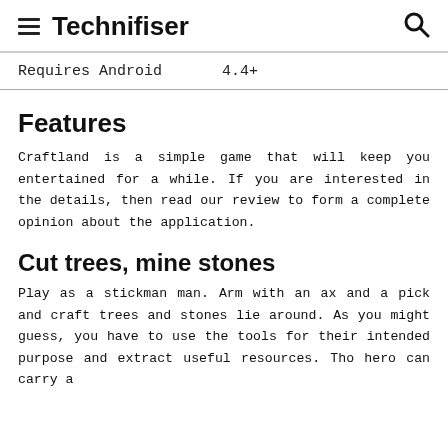Technifiser
| Requires Android | 4.4+ |
| --- | --- |
Features
Craftland is a simple game that will keep you entertained for a while. If you are interested in the details, then read our review to form a complete opinion about the application.
Cut trees, mine stones
Play as a stickman man. Arm with an ax and a pick and craft trees and stones lie around. As you might guess, you have to use the tools for their intended purpose and extract useful resources. Tho hero can carry a